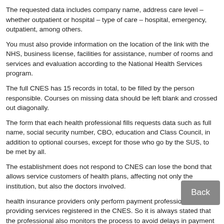The requested data includes company name, address care level – whether outpatient or hospital – type of care – hospital, emergency, outpatient, among others.
You must also provide information on the location of the link with the NHS, business license, facilities for assistance, number of rooms and services and evaluation according to the National Health Services program.
The full CNES has 15 records in total, to be filled by the person responsible. Courses on missing data should be left blank and crossed out diagonally.
The form that each health professional fills requests data such as full name, social security number, CBO, education and Class Council, in addition to optional courses, except for those who go by the SUS, to be met by all.
The establishment does not respond to CNES can lose the bond that allows service customers of health plans, affecting not only the institution, but also the doctors involved.
health insurance providers only perform payment professionals are providing services registered in the CNES. So it is always stated that the professional also monitors the process to avoid delays in payment transfers.
Despite the concern with the CNES to be extremely relevant and necessary, manage a practice goes far beyond documentation, numbers and bureaucracies: